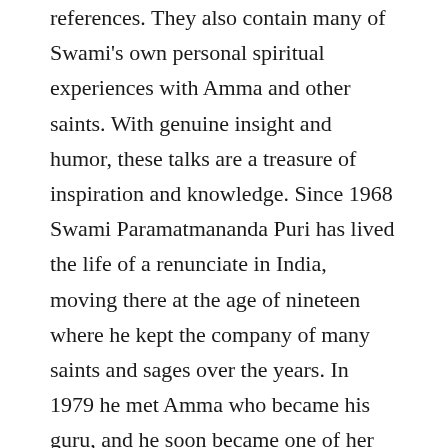references. They also contain many of Swami's own personal spiritual experiences with Amma and other saints. With genuine insight and humor, these talks are a treasure of inspiration and knowledge. Since 1968 Swami Paramatmananda Puri has lived the life of a renunciate in India, moving there at the age of nineteen where he kept the company of many saints and sages over the years. In 1979 he met Amma who became his guru, and he soon became one of her senior disciples. He was eventually asked to return to the U. S. to serve as head of Amma's first center in the West. Many residents and visitors to the center have shared that one of the high points of the programs there have been Swami's talks, encompassing his experience in India, his understanding of scriptural texts, and his life on the